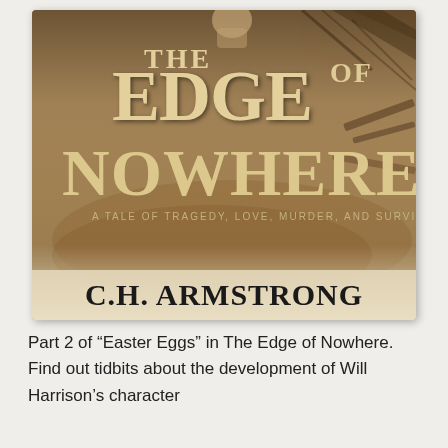[Figure (illustration): Book cover of 'The Edge of Nowhere' by C.H. Armstrong. Large decorative serif title text in cream/gold color reads 'THE EDGE OF NOWHERE' on a dusty, war-damaged background. Subtitle: 'A TALE OF TRAGEDY, LOVE, MURDER, AND SURVIVAL.' Author name 'C.H. ARMSTRONG' in large black serif font at the bottom of the cover.]
Part 2 of “Easter Eggs” in The Edge of Nowhere. Find out tidbits about the development of Will Harrison’s character